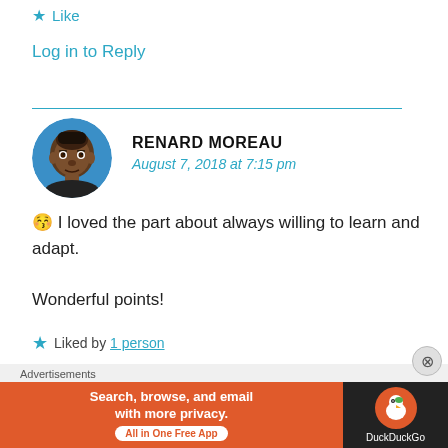★ Like
Log in to Reply
RENARD MOREAU
August 7, 2018 at 7:15 pm
[Figure (illustration): Circular avatar of Renard Moreau — illustrated dark-skinned male face with black hair on a blue background]
😚 I loved the part about always willing to learn and adapt.

Wonderful points!
★ Liked by 1 person
Advertisements
[Figure (infographic): DuckDuckGo advertisement banner: orange left section with text 'Search, browse, and email with more privacy.' and 'All in One Free App' pill, dark right section with DuckDuckGo logo]